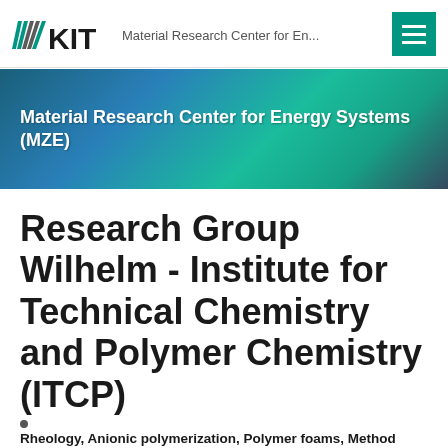KIT - Material Research Center for En...
[Figure (logo): KIT logo with fan/chevron symbol in teal/dark colors and bold KIT text]
[Figure (illustration): Teal and blue gradient banner background with diagonal light streaks]
Material Research Center for Energy Systems (MZE)
Research Group Wilhelm - Institute for Technical Chemistry and Polymer Chemistry (ITCP)
Rheology, Anionic polymerization, Polymer foams, Method Development, Analytical Methods...